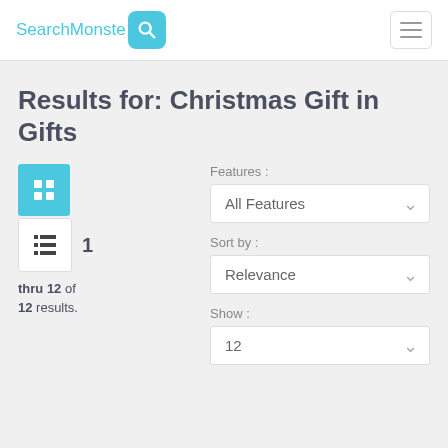SearchMonster [logo with search icon] [hamburger menu]
Results for: Christmas Gift in Gifts
1 thru 12 of 12 results.
Features : All Features
Sort by : Relevance
Show : 12